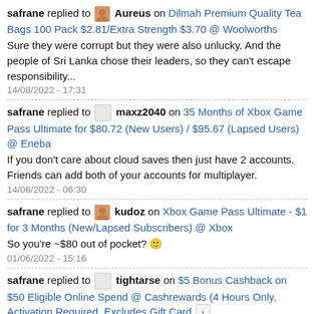safrane replied to Aureus on Dilmah Premium Quality Tea Bags 100 Pack $2.81/Extra Strength $3.70 @ Woolworths
Sure they were corrupt but they were also unlucky. And the people of Sri Lanka chose their leaders, so they can't escape responsibility...
14/08/2022 - 17:31
safrane replied to maxz2040 on 35 Months of Xbox Game Pass Ultimate for $80.72 (New Users) / $95.67 (Lapsed Users) @ Eneba
If you don't care about cloud saves then just have 2 accounts. Friends can add both of your accounts for multiplayer.
14/06/2022 - 06:30
safrane replied to kudoz on Xbox Game Pass Ultimate - $1 for 3 Months (New/Lapsed Subscribers) @ Xbox
So you're ~$80 out of pocket? 🙂
01/06/2022 - 15:16
safrane replied to tightarse on $5 Bonus Cashback on $50 Eligible Online Spend @ Cashrewards (4 Hours Only, Activation Required, Excludes Gift Card ...
What did you expect when you post these flash offer deals at